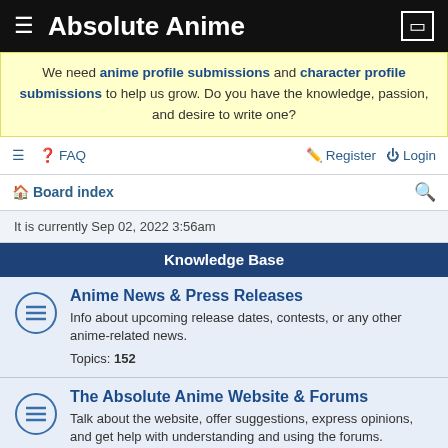Absolute Anime
We need anime profile submissions and character profile submissions to help us grow. Do you have the knowledge, passion, and desire to write one?
FAQ  Register  Login
Board index
It is currently Sep 02, 2022 3:56am
Knowledge Base
Anime News & Press Releases
Info about upcoming release dates, contests, or any other anime-related news.
Topics: 152
The Absolute Anime Website & Forums
Talk about the website, offer suggestions, express opinions, and get help with understanding and using the forums.
Topics: 637
2013 Crash Aftermath
After the 2013 database crash, most new topics were created in a single forum. This is that forum.
Topics: 73